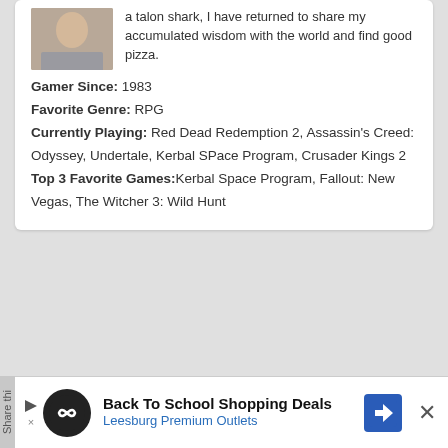[Figure (photo): Profile photo of a person, partially visible, wearing a grey shirt]
a talon shark, I have returned to share my accumulated wisdom with the world and find good pizza.
Gamer Since: 1983
Favorite Genre: RPG
Currently Playing: Red Dead Redemption 2, Assassin's Creed: Odyssey, Undertale, Kerbal SPace Program, Crusader Kings 2
Top 3 Favorite Games:Kerbal Space Program, Fallout: New Vegas, The Witcher 3: Wild Hunt
[Figure (logo): Infinity loop logo in white on black circle]
Back To School Shopping Deals
Leesburg Premium Outlets
[Figure (logo): Blue navigation arrow icon]
Share thi
×